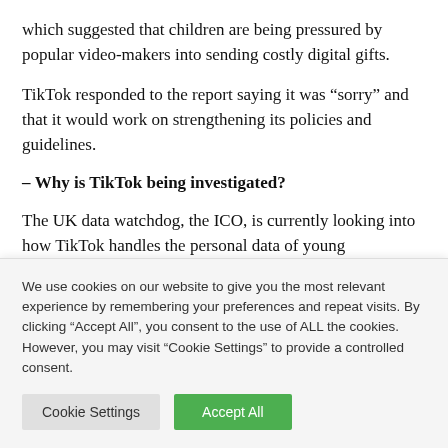which suggested that children are being pressured by popular video-makers into sending costly digital gifts.
TikTok responded to the report saying it was “sorry” and that it would work on strengthening its policies and guidelines.
– Why is TikTok being investigated?
The UK data watchdog, the ICO, is currently looking into how TikTok handles the personal data of young
We use cookies on our website to give you the most relevant experience by remembering your preferences and repeat visits. By clicking “Accept All”, you consent to the use of ALL the cookies. However, you may visit “Cookie Settings” to provide a controlled consent.